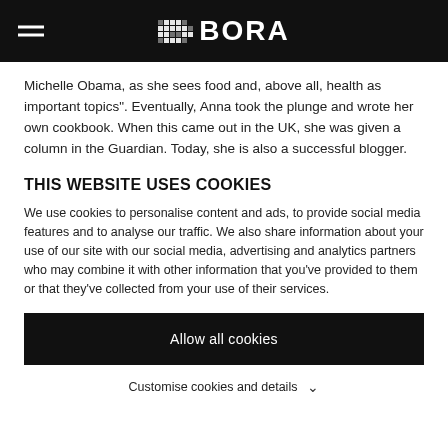BORA
Michelle Obama, as she sees food and, above all, health as important topics". Eventually, Anna took the plunge and wrote her own cookbook. When this came out in the UK, she was given a column in the Guardian. Today, she is also a successful blogger.
THIS WEBSITE USES COOKIES
We use cookies to personalise content and ads, to provide social media features and to analyse our traffic. We also share information about your use of our site with our social media, advertising and analytics partners who may combine it with other information that you've provided to them or that they've collected from your use of their services.
Allow all cookies
Customise cookies and details